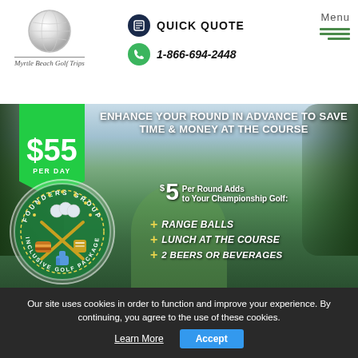[Figure (logo): Myrtle Beach Golf Trips logo with golf ball and italic text]
QUICK QUOTE
1-866-694-2448
Menu
[Figure (photo): Golf course banner photo with trees lining a fairway, green ribbon badge showing $55 Per Day, Founders Group Inclusive Golf Package circular badge]
ENHANCE YOUR ROUND IN ADVANCE TO SAVE TIME & MONEY AT THE COURSE
$5 Per Round Adds to Your Championship Golf:
+ RANGE BALLS
+ LUNCH AT THE COURSE
+ 2 BEERS OR BEVERAGES
Our site uses cookies in order to function and improve your experience. By continuing, you agree to the use of these cookies.
Learn More
Accept